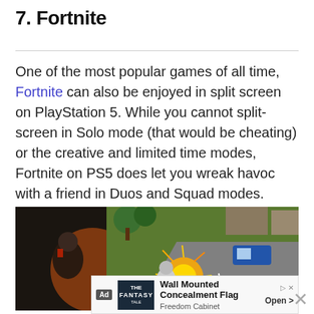7. Fortnite
One of the most popular games of all time, Fortnite can also be enjoyed in split screen on PlayStation 5. While you cannot split-screen in Solo mode (that would be cheating) or the creative and limited time modes, Fortnite on PS5 does let you wreak havoc with a friend in Duos and Squad modes.
[Figure (screenshot): Fortnite split-screen gameplay screenshot showing a character firing a weapon with explosive effects on a map, alongside another game view with a character in dark surroundings.]
[Figure (other): Advertisement banner: Wall Mounted Concealment Flag by Freedom Cabinet with an Open button.]